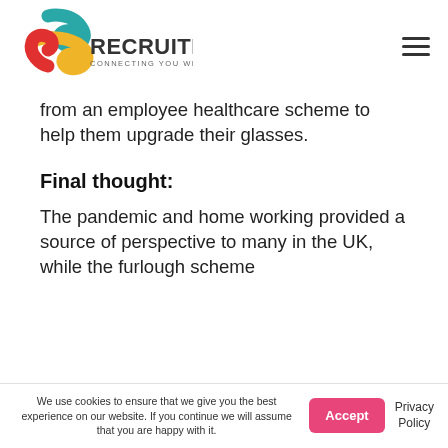[Figure (logo): 2o Recruitment logo with teal, yellow, and red swoosh shapes and text 'RECRUITMENT CONNECTING YOU WITH TALENT']
from an employee healthcare scheme to help them upgrade their glasses.
Final thought:
The pandemic and home working provided a source of perspective to many in the UK, while the furlough scheme
We use cookies to ensure that we give you the best experience on our website. If you continue we will assume that you are happy with it.